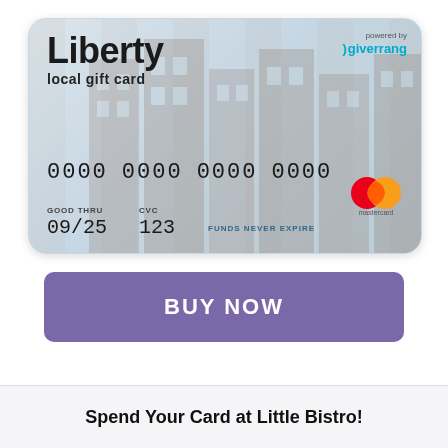[Figure (illustration): Liberty local gift card — a Mastercard gift card with building background, card number 0000 0000 0000 0000, expiry 09/25, CVC 123, powered by giverrang, FUNDS NEVER EXPIRE]
BUY NOW
Spend Your Card at Little Bistro!